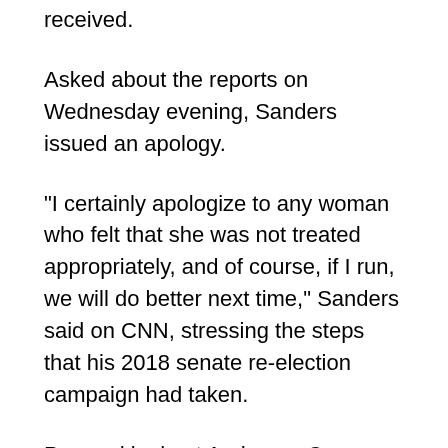received.
Asked about the reports on Wednesday evening, Sanders issued an apology.
"I certainly apologize to any woman who felt that she was not treated appropriately, and of course, if I run, we will do better next time," Sanders said on CNN, stressing the steps that his 2018 senate re-election campaign had taken.
Pressed by host Anderson Cooper about whether he was aware of the allegations during the 2016 campaign, the U.S. senator from Vermont said he was not.
"I was a little bit busy running around the country